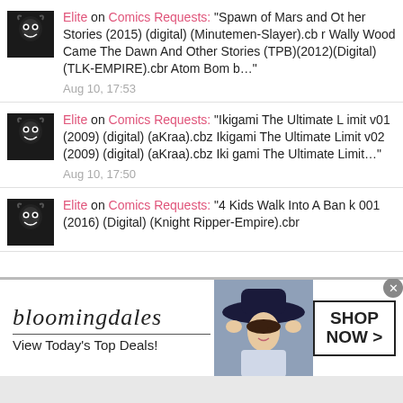Elite on Comics Requests: "Spawn of Mars and Other Stories (2015) (digital) (Minutemen-Slayer).cbr Wally Wood Came The Dawn And Other Stories (TPB)(2012)(Digital)(TLK-EMPIRE).cbr Atom Bomb..."
Aug 10, 17:53
Elite on Comics Requests: "Ikigami The Ultimate Limit v01 (2009) (digital) (aKraa).cbz Ikigami The Ultimate Limit v02 (2009) (digital) (aKraa).cbz Ikigami The Ultimate Limit..."
Aug 10, 17:50
Elite on Comics Requests: "4 Kids Walk Into A Bank 001 (2016) (Digital) (Knight Ripper-Empire).cbr
[Figure (screenshot): Bloomingdale's advertisement banner: logo text 'bloomingdales' in italic serif, tagline 'View Today's Top Deals!', image of woman in wide-brim hat, 'SHOP NOW >' button]